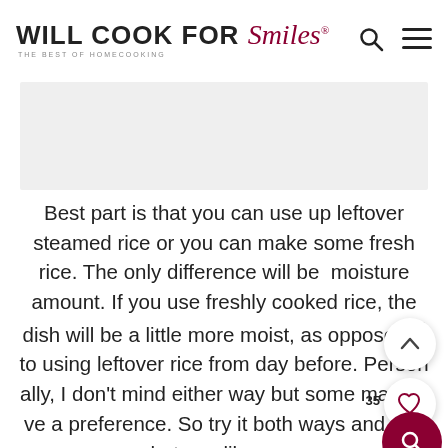WILL COOK FOR Smiles® THE BEST OF HOMECOOKING
[Figure (other): Gray advertisement placeholder block]
Best part is that you can use up leftover steamed rice or you can make some fresh rice. The only difference will be  moisture amount. If you use freshly cooked rice, the dish will be a little more moist, as opposed to using leftover rice from day before. Personally, I don't mind either way but some may have a preference. So try it both ways and see what you like more.